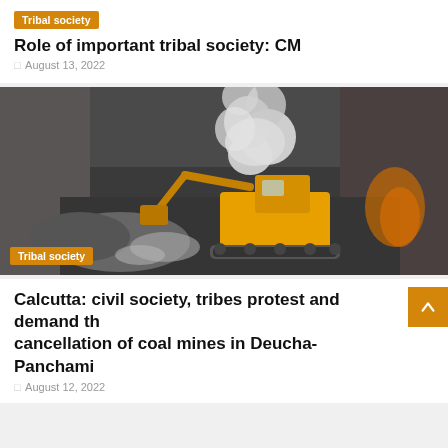Tribal society
Role of important tribal society: CM
August 13, 2022
[Figure (photo): A yellow excavator operating in a coal mine with dust and smoke rising, rocky terrain around it.]
Tribal society
Calcutta: civil society, tribes protest and demand the cancellation of coal mines in Deucha-Panchami
August 12, 2022